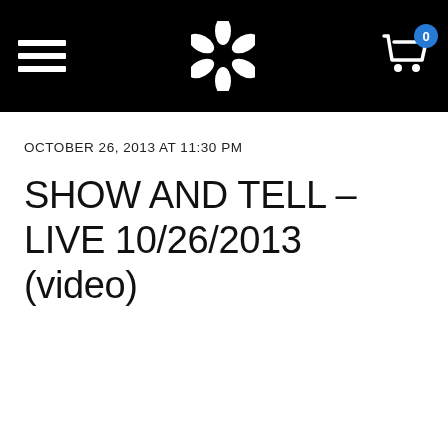Navigation bar with hamburger menu, star logo, and cart icon with badge 0
OCTOBER 26, 2013 AT 11:30 PM
SHOW AND TELL – LIVE 10/26/2013 (video)